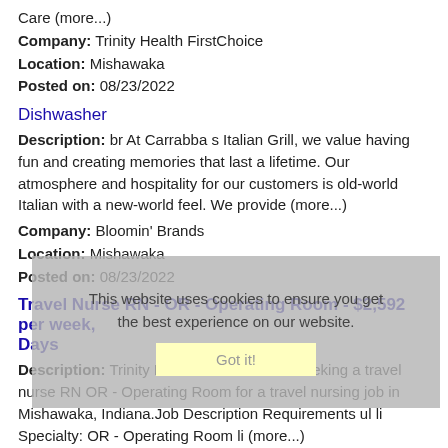Care (more...)
Company: Trinity Health FirstChoice
Location: Mishawaka
Posted on: 08/23/2022
Dishwasher
Description: br At Carrabba s Italian Grill, we value having fun and creating memories that last a lifetime. Our atmosphere and hospitality for our customers is old-world Italian with a new-world feel. We provide (more...)
Company: Bloomin' Brands
Location: Mishawaka
Posted on: 08/23/2022
Travel Nurse RN - OR - Operating Room - $2,592 per week, Days
Description: Trinity Health FirstChoice is seeking a travel nurse RN OR - Operating Room for a travel nursing job in Mishawaka, Indiana.Job Description Requirements ul li Specialty: OR - Operating Room li (more...)
Company: Trinity Health FirstChoice
Location: Mishawaka
Posted on: 08/23/2022